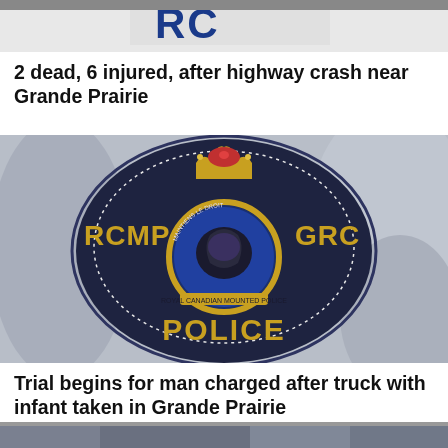[Figure (photo): Top portion of a police vehicle, partially cropped, showing blue letters on white background]
2 dead, 6 injured, after highway crash near Grande Prairie
[Figure (photo): Close-up photograph of an RCMP GRC Police shoulder badge/patch on a grey uniform. The badge is dark navy blue with gold lettering reading RCMP on left and GRC on right, POLICE at the bottom, with the royal Canadian Mounted Police crest featuring a crown and bison in the center.]
Trial begins for man charged after truck with infant taken in Grande Prairie
[Figure (photo): Bottom portion of another image, partially cropped, showing what appears to be a building exterior]